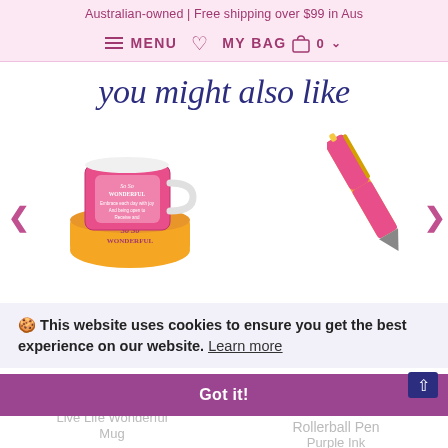Australian-owned | Free shipping over $99 in Aus
≡ MENU ♡ MY BAG 🛍 0 ∨
you might also like
[Figure (photo): A colorful floral mug sitting on a matching gift box, branded 'Live Life Wonderful']
[Figure (photo): A pink and yellow floral rollerball pen, angled diagonally]
🍪 This website uses cookies to ensure you get the best experience on our website. Learn more
Got it!
Live Life Wonderful Mug
$25.99
Wonderful You Rollerball Pen
Purple Ink